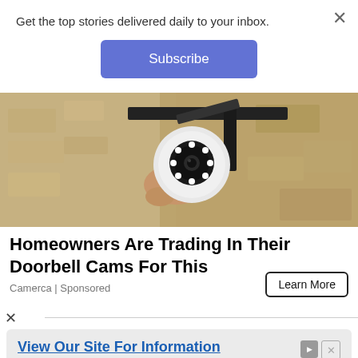Get the top stories delivered daily to your inbox.
[Figure (other): Subscribe button (blue rounded rectangle with white text 'Subscribe')]
[Figure (photo): Close-up photo of a white security camera mounted on a black bracket against a tan brick/stucco wall, with LED lights visible on the camera lens]
Homeowners Are Trading In Their Doorbell Cams For This
Camerca | Sponsored
[Figure (other): Learn More button with black border]
[Figure (other): Small X close button]
[Figure (screenshot): Advertisement: 'View Our Site For Information' - We Now Offer Lowe Trencher Attachments & Parts. Call Us Today. Replacement Digging Parts. Open button in blue.]